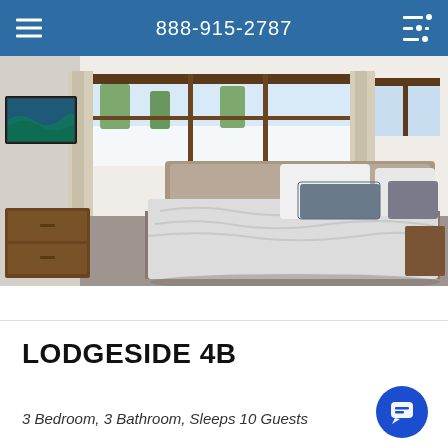888-915-2787
[Figure (photo): Interior bedroom photo of a modern ski lodge room with a large bed, white/grey bedding, dark accent pillows, wood furniture, and snow-covered mountain view through large windows. A framed blue/green artwork hangs on the left wall.]
LODGESIDE 4B
3 Bedroom, 3 Bathroom, Sleeps 10 Guests